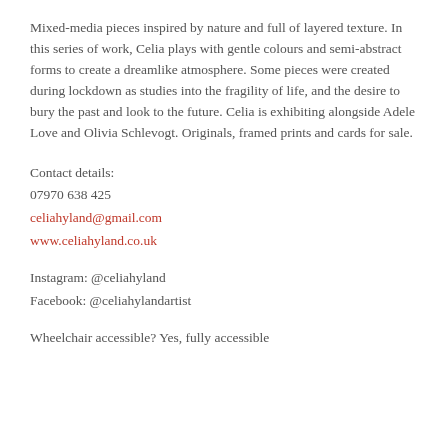Mixed-media pieces inspired by nature and full of layered texture. In this series of work, Celia plays with gentle colours and semi-abstract forms to create a dreamlike atmosphere. Some pieces were created during lockdown as studies into the fragility of life, and the desire to bury the past and look to the future. Celia is exhibiting alongside Adele Love and Olivia Schlevogt. Originals, framed prints and cards for sale.
Contact details:
07970 638 425
celiahyland@gmail.com
www.celiahyland.co.uk
Instagram: @celiahyland
Facebook: @celiahylandartist
Wheelchair accessible? Yes, fully accessible